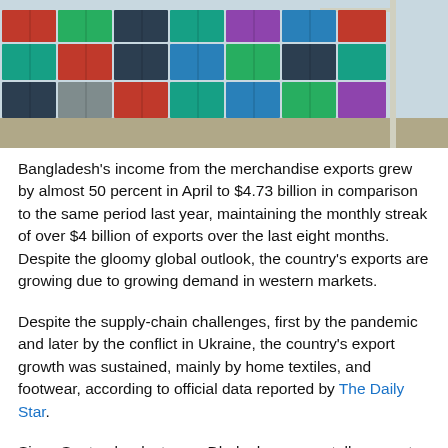[Figure (photo): Photo of stacked colorful shipping containers at a port — red, green, blue, and grey containers piled high.]
Bangladesh's income from the merchandise exports grew by almost 50 percent in April to $4.73 billion in comparison to the same period last year, maintaining the monthly streak of over $4 billion of exports over the last eight months. Despite the gloomy global outlook, the country's exports are growing due to growing demand in western markets.
Despite the supply-chain challenges, first by the pandemic and later by the conflict in Ukraine, the country's export growth was sustained, mainly by home textiles, and footwear, according to official data reported by The Daily Star.
Since September last year, Dhaka has seen stellar export earnings, posting over $4 billion for the first time in each